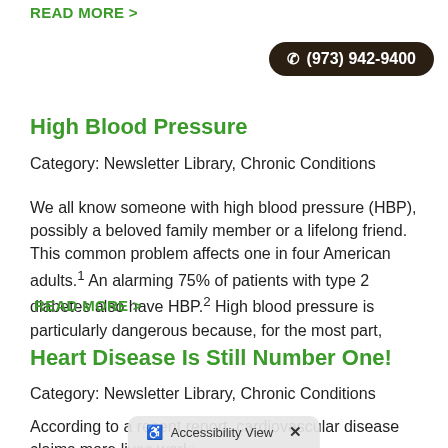READ MORE >
(973) 942-9400
High Blood Pressure
Category: Newsletter Library, Chronic Conditions
We all know someone with high blood pressure (HBP), possibly a beloved family member or a lifelong friend. This common problem affects one in four American adults.1 An alarming 75% of patients with type 2 diabetes also have HBP.2 High blood pressure is particularly dangerous because, for the most part,
READ MORE >
Heart Disease Is Still Number One!
Category: Newsletter Library, Chronic Conditions
According to a recent report, cardiovascular disease claims more lives worldwide than any other disorder.1